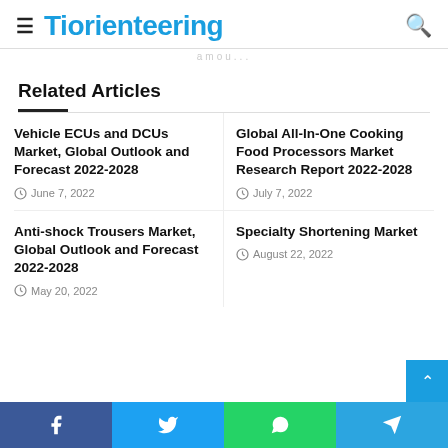Tiorienteering
Related Articles
Vehicle ECUs and DCUs Market, Global Outlook and Forecast 2022-2028
June 7, 2022
Global All-In-One Cooking Food Processors Market Research Report 2022-2028
July 7, 2022
Anti-shock Trousers Market, Global Outlook and Forecast 2022-2028
May 20, 2022
Specialty Shortening Market
August 22, 2022